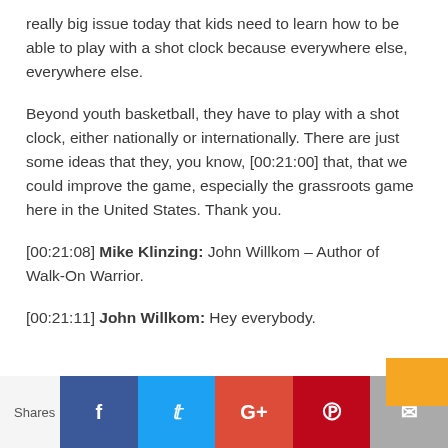really big issue today that kids need to learn how to be able to play with a shot clock because everywhere else, everywhere else.
Beyond youth basketball, they have to play with a shot clock, either nationally or internationally. There are just some ideas that they, you know, [00:21:00] that, that we could improve the game, especially the grassroots game here in the United States. Thank you.
[00:21:08] Mike Klinzing: John Willkom – Author of Walk-On Warrior.
[00:21:11] John Willkom: Hey everybody.
Shares | Facebook | Twitter | G+ | Pinterest | Email